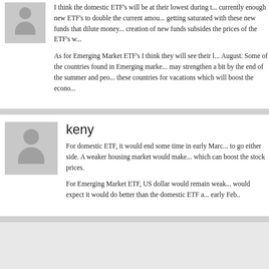I think the domestic ETF's will be at their lowest during t... currently enough new ETF's to double the current amou... getting saturated with these new funds that dilute money... creation of new funds subsides the prices of the ETF's w...
As for Emerging Market ETF's I think they will see their l... August. Some of the countries found in Emerging marke... may strengthen a bit by the end of the summer and peo... these countries for vacations which will boost the econo...
keny
For domestic ETF, it would end some time in early Marc... to go either side. A weaker housing market would make... which can boost the stock prices.
For Emerging Market ETF, US dollar would remain weak... would expect it would do better than the domestic ETF a... early Feb..